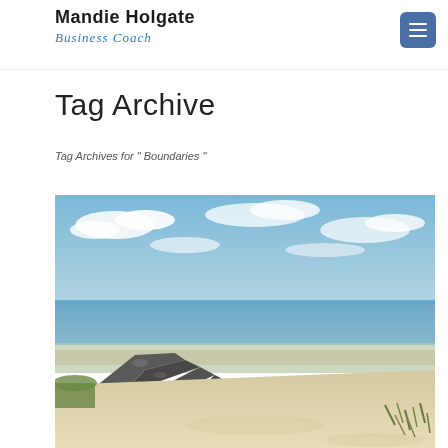Mandie Holgate Business Coach
Tag Archive
Tag Archives for " Boundaries "
[Figure (photo): Coastal beach scene with blue sky, clouds, calm sea in the background, dark rocks forming a breakwater or groyne in the middle ground, white sand in the foreground with some beach grass]